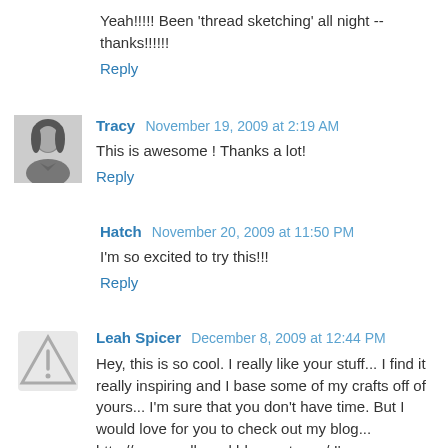Yeah!!!!! Been 'thread sketching' all night -- thanks!!!!!!
Reply
Tracy November 19, 2009 at 2:19 AM
This is awesome ! Thanks a lot!
Reply
Hatch November 20, 2009 at 11:50 PM
I'm so excited to try this!!!
Reply
Leah Spicer December 8, 2009 at 12:44 PM
Hey, this is so cool. I really like your stuff... I find it really inspiring and I base some of my crafts off of yours... I'm sure that you don't have time. But I would love for you to check out my blog... http://sewnandheard.blogspot.com/ I'm